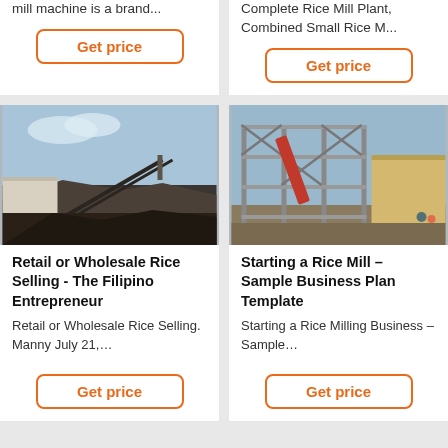mill machine is a brand...
Get price
Complete Rice Mill Plant, Combined Small Rice M...
Get price
[Figure (photo): Industrial conveyor belt and machinery at a mining or rice mill facility, outdoor setting with sky in background]
Retail or Wholesale Rice Selling - The Filipino Entrepreneur
Retail or Wholesale Rice Selling. Manny July 21,...
Get price
[Figure (photo): Steel frame industrial building structure under construction or operational rice mill facility]
Starting a Rice Mill – Sample Business Plan Template
Starting a Rice Milling Business – Sample...
Get price